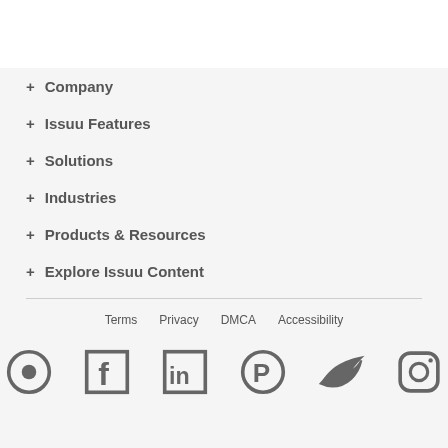+ Company
+ Issuu Features
+ Solutions
+ Industries
+ Products & Resources
+ Explore Issuu Content
Terms  Privacy  DMCA  Accessibility
[Figure (other): Social media icons: Issuu, Facebook, LinkedIn, Pinterest, Twitter, Instagram]